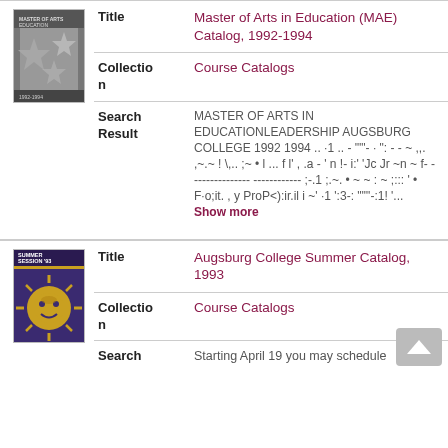[Figure (photo): Thumbnail of Master of Arts in Education catalog cover, dark grey/blue tones with star shapes]
| Field | Value |
| --- | --- |
| Title | Master of Arts in Education (MAE) Catalog, 1992-1994 |
| Collection | Course Catalogs |
| Search Result | MASTER OF ARTS IN EDUCATIONLEADERSHIP AUGSBURG COLLEGE 1992 1994 .. ·1 .. - '""- · ": - - ~ ,,. ,~.~ ! \,.. ;~ • l ... f l' , .a - ' n !- i:' 'Jc Jr ~n ~ f- - -------------- ------------ ;-.1 ;.~. • ~ ~ : ~ ;::: ' • F·o;it. , y ProP<)::ir.il i ~' ·1 ':3-: '""'-:1! '... Show more |
[Figure (photo): Thumbnail of Augsburg College Summer Session 93 catalog cover, purple background with gold sun face illustration]
| Field | Value |
| --- | --- |
| Title | Augsburg College Summer Catalog, 1993 |
| Collection | Course Catalogs |
| Search | Starting April 19 you may schedule |